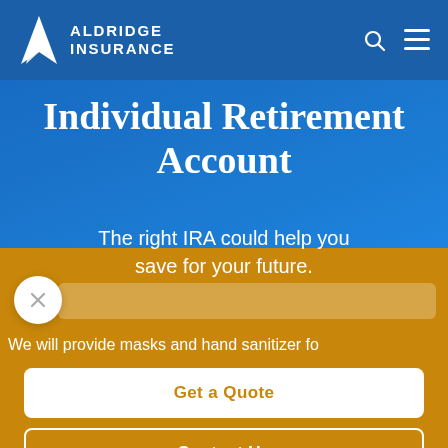[Figure (logo): Aldridge Insurance logo with white triangular A icon and bold uppercase ALDRIDGE INSURANCE text]
Individual Retirement Account
The right IRA could help you save for your future.
We will provide masks and hand sanitizer fo
Get a Quote
Contact Us